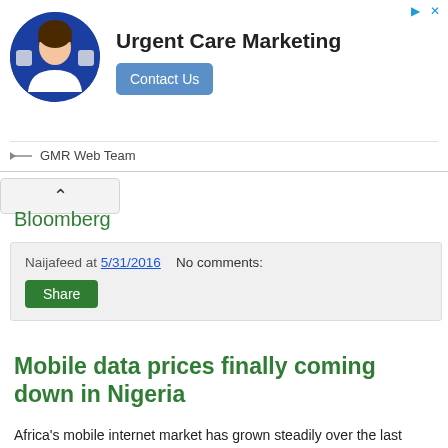[Figure (photo): Advertisement banner: Urgent Care Marketing with person avatar, Contact Us button, GMR Web Team label]
Bloomberg
Naijafeed at 5/31/2016   No comments:
Mobile data prices finally coming down in Nigeria
Africa's mobile internet market has grown steadily over the last decade and new forecasts show mobile data revenue, will double over the five years to 2019—topping $22 billion. On the other hand, mobile voice revenue, though still significantly higher ($50 billion in 2014), will only grow by